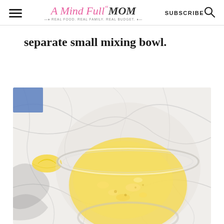A Mind Full Mom — REAL FOOD. REAL FAMILY. REAL BUDGET. — SUBSCRIBE
separate small mixing bowl.
[Figure (photo): Overhead view of a glass bowl containing a yellow whisked egg/lemon mixture on a white marble surface, with a lemon wedge visible to the left side. A blue surface peeks in from the upper left corner.]